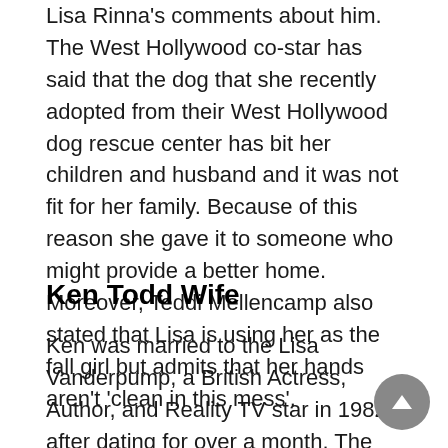Lisa Rinna's comments about him. The West Hollywood co-star has said that the dog that she recently adopted from their West Hollywood dog rescue center has bit her children and husband and it was not fit for her family. Because of this reason she gave it to someone who might provide a better home. Moreover, Teddi Mellencamp also stated that Lisa is using her as the fall girl but admits that her hands aren't 'clean in this mess'.
Ken Todd Wife
Ken was married to the Lisa Vanderpump, a British Actress, Author, and Reality TV star in 1982 after dating for over a month. The couples have a drastic age difference of 15 years as Lisa is